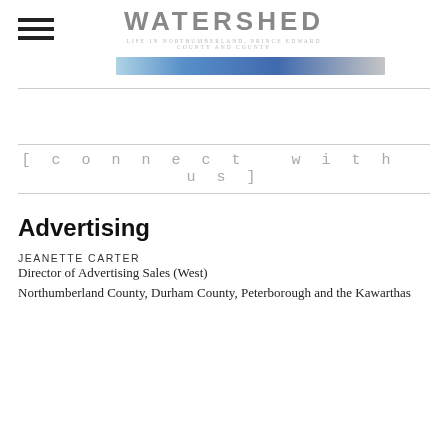WATERSHED
[Figure (photo): Partial image strip showing a banner photo with blue tones]
[ connect with us ]
Advertising
JEANETTE CARTER
Director of Advertising Sales (West)
Northumberland County, Durham County, Peterborough and the Kawarthas